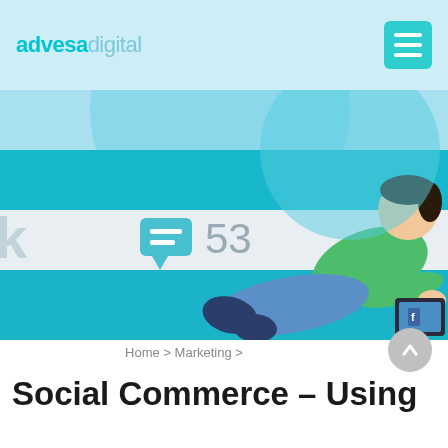advesadigital
[Figure (illustration): Hero illustration showing a person lying down using a tablet device, with a social media comment/chat icon showing 53 comments, set against a teal/blue background with circular shapes. A partial letter 'k' visible on left side.]
Home > Marketing >
Social Commerce – Using